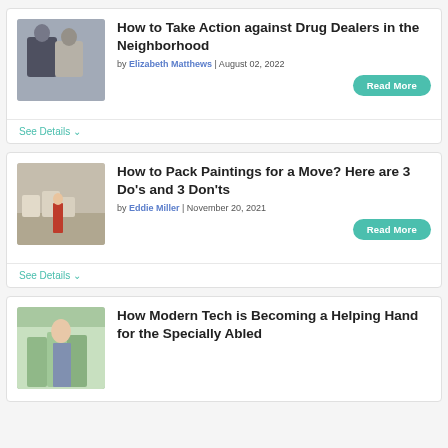[Figure (photo): Photo of two people, one in dark hoodie, possibly a drug deal scene]
How to Take Action against Drug Dealers in the Neighborhood
by Elizabeth Matthews | August 02, 2022
Read More
See Details
[Figure (photo): Photo of a person in red near stacked boxes/paintings being packed for moving]
How to Pack Paintings for a Move? Here are 3 Do's and 3 Don'ts
by Eddie Miller | November 20, 2021
Read More
See Details
[Figure (photo): Photo related to modern tech helping specially abled people]
How Modern Tech is Becoming a Helping Hand for the Specially Abled